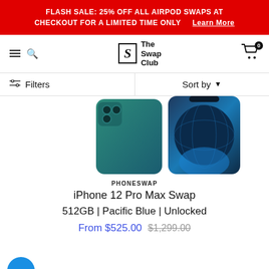FLASH SALE: 25% OFF ALL AIRPOD SWAPS AT CHECKOUT FOR A LIMITED TIME ONLY  Learn More
[Figure (logo): The Swap Club logo with stylized S in a box and text 'The Swap Club']
[Figure (screenshot): Filter bar with sliders icon and Filters label on left, Sort by dropdown on right]
[Figure (photo): iPhone 12 Pro Max in Pacific Blue color — two phones shown from back/front, teal-blue gradient color]
PHONESWAP
iPhone 12 Pro Max Swap
512GB | Pacific Blue | Unlocked
From $525.00  $1,299.00